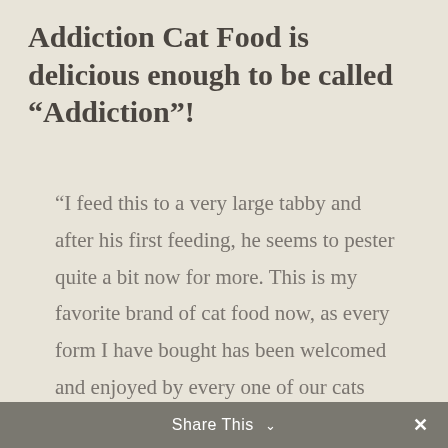Addiction Cat Food is delicious enough to be called “Addiction”!
“I feed this to a very large tabby and after his first feeding, he seems to pester quite a bit now for more. This is my favorite brand of cat food now, as every form I have bought has been welcomed and enjoyed by every one of our cats who have different dietary needs.”
Share This ∨  ×